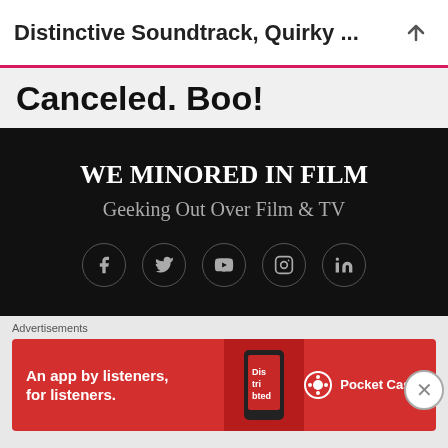Distinctive Soundtrack, Quirky ...
Canceled. Boo!
WE MINORED IN FILM
Geeking Out Over Film & TV
[Figure (infographic): Social media icons: Facebook, Twitter, YouTube, Instagram, LinkedIn in circular outlines on dark background]
Archives
Select Month
Advertisements
[Figure (other): Pocket Casts advertisement banner: red background, text 'An app by listeners, for listeners.' with phone image and Pocket Casts logo]